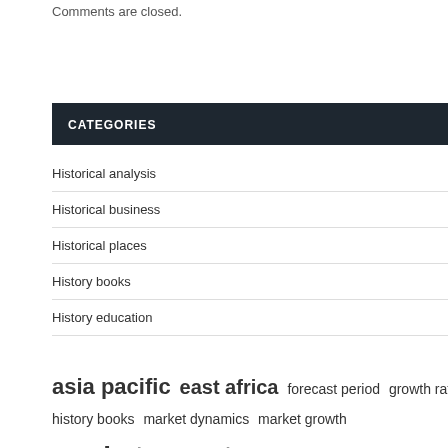Comments are closed.
CATEGORIES
Historical analysis
Historical business
Historical places
History books
History education
asia pacific  east africa  forecast period  growth rate  history books  market dynamics  market growth  market report  market research  market share